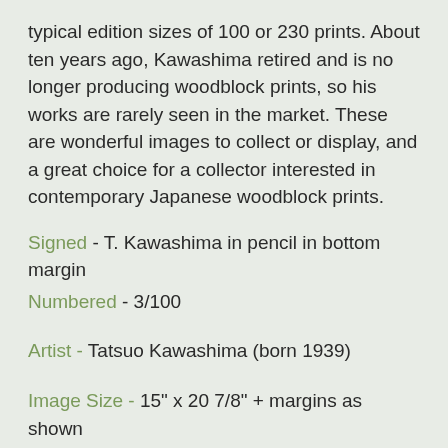typical edition sizes of 100 or 230 prints. About ten years ago, Kawashima retired and is no longer producing woodblock prints, so his works are rarely seen in the market. These are wonderful images to collect or display, and a great choice for a collector interested in contemporary Japanese woodblock prints.
Signed - T. Kawashima in pencil in bottom margin
Numbered - 3/100
Artist - Tatsuo Kawashima (born 1939)
Image Size - 15" x 20 7/8" + margins as shown
Condition - This print with excellent detail as shown. R...